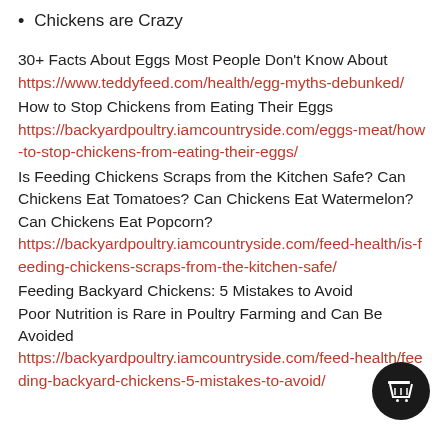Chickens are Crazy
30+ Facts About Eggs Most People Don't Know About
https://www.teddyfeed.com/health/egg-myths-debunked/
How to Stop Chickens from Eating Their Eggs
https://backyardpoultry.iamcountryside.com/eggs-meat/how-to-stop-chickens-from-eating-their-eggs/
Is Feeding Chickens Scraps from the Kitchen Safe? Can Chickens Eat Tomatoes? Can Chickens Eat Watermelon? Can Chickens Eat Popcorn?
https://backyardpoultry.iamcountryside.com/feed-health/is-feeding-chickens-scraps-from-the-kitchen-safe/
Feeding Backyard Chickens: 5 Mistakes to Avoid
Poor Nutrition is Rare in Poultry Farming and Can Be Avoided
https://backyardpoultry.iamcountryside.com/feed-health/feeding-backyard-chickens-5-mistakes-to-avoid/